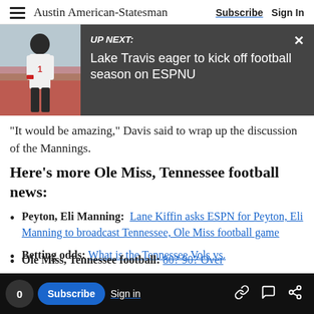Austin American-Statesman  Subscribe  Sign In
[Figure (screenshot): UP NEXT promotional banner showing a football player image on the left with dark background and text: UP NEXT: Lake Travis eager to kick off football season on ESPNU, with a close button X]
"It would be amazing," Davis said to wrap up the discussion of the Mannings.
Here's more Ole Miss, Tennessee football news:
Peyton, Eli Manning: Lane Kiffin asks ESPN for Peyton, Eli Manning to broadcast Tennessee, Ole Miss football game
Betting odds: What is the Tennessee Vols vs.
Ole Miss, Tennessee football: 80? 90? Over